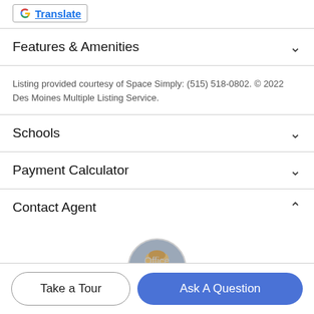[Figure (logo): Google Translate button with G logo and underlined 'Translate' link in a bordered box]
Features & Amenities
Listing provided courtesy of Space Simply: (515) 518-0802. © 2022 Des Moines Multiple Listing Service.
Schools
Payment Calculator
Contact Agent
[Figure (photo): Circular avatar photo of a young man with light hair, wearing a dark jacket]
Office
Take a Tour
Ask A Question